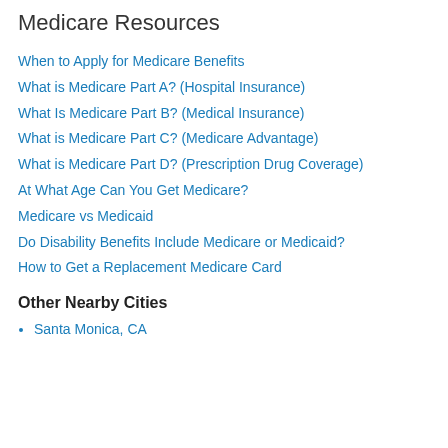Medicare Resources
When to Apply for Medicare Benefits
What is Medicare Part A? (Hospital Insurance)
What Is Medicare Part B? (Medical Insurance)
What is Medicare Part C? (Medicare Advantage)
What is Medicare Part D? (Prescription Drug Coverage)
At What Age Can You Get Medicare?
Medicare vs Medicaid
Do Disability Benefits Include Medicare or Medicaid?
How to Get a Replacement Medicare Card
Other Nearby Cities
Santa Monica, CA